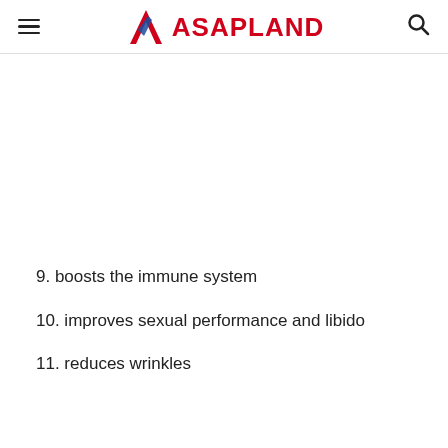ASAPLAND
9. boosts the immune system
10. improves sexual performance and libido
11. reduces wrinkles